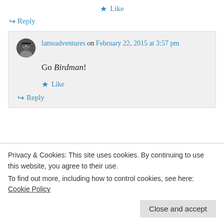★ Like
↪ Reply
lameadventures on February 22, 2015 at 3:57 pm
Go Birdman!
★ Like
↪ Reply
Privacy & Cookies: This site uses cookies. By continuing to use this website, you agree to their use. To find out more, including how to control cookies, see here: Cookie Policy
Close and accept